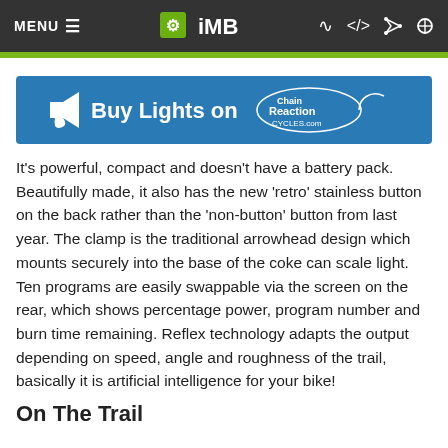MENU  iMB
[Figure (infographic): Blue banner with megaphone icon and text: Buy Lights on Chain Reaction Cycles logo]
It's powerful, compact and doesn't have a battery pack. Beautifully made, it also has the new 'retro' stainless button on the back rather than the 'non-button' button from last year. The clamp is the traditional arrowhead design which mounts securely into the base of the coke can scale light. Ten programs are easily swappable via the screen on the rear, which shows percentage power, program number and burn time remaining. Reflex technology adapts the output depending on speed, angle and roughness of the trail, basically it is artificial intelligence for your bike!
On The Trail